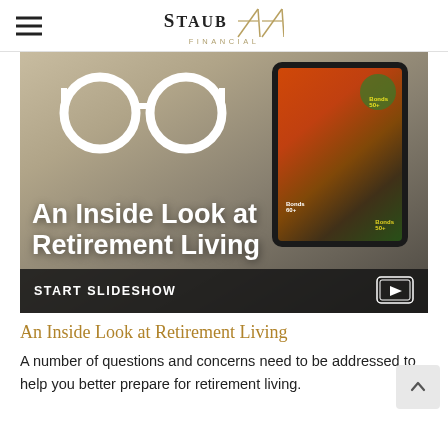Staub Financial
[Figure (screenshot): Slideshow thumbnail image showing 'An Inside Look at Retirement Living' with a tablet device, glasses icon overlay, and START SLIDESHOW button at the bottom.]
An Inside Look at Retirement Living
A number of questions and concerns need to be addressed to help you better prepare for retirement living.